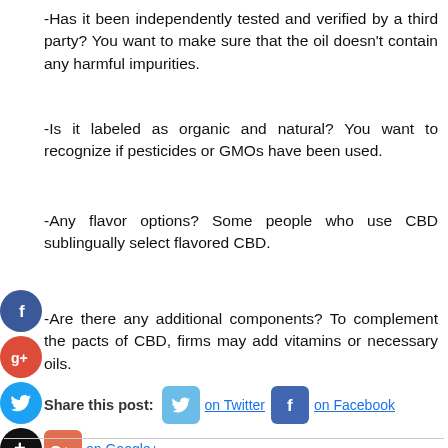-Has it been independently tested and verified by a third party? You want to make sure that the oil doesn't contain any harmful impurities.
-Is it labeled as organic and natural? You want to recognize if pesticides or GMOs have been used.
-Any flavor options? Some people who use CBD sublingually select flavored CBD.
-Are there any additional components? To complement the pacts of CBD, firms may add vitamins or necessary oils.
Share this post:  on Twitter  on Facebook  on Google+